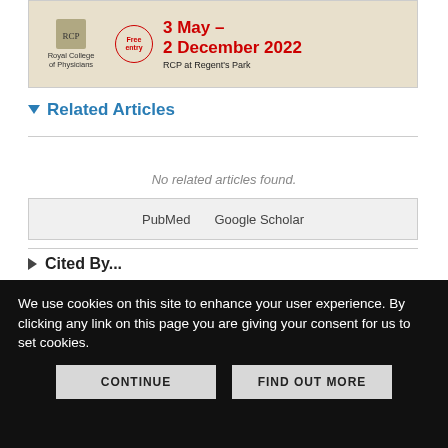[Figure (illustration): Royal College of Physicians banner advertisement showing 'Free entry', dates '3 May – 2 December 2022', and 'RCP at Regent's Park' with the RCP logo.]
Related Articles
No related articles found.
PubMed   Google Scholar
Cited By...
More in this TOC Section
Similar Articles
We use cookies on this site to enhance your user experience. By clicking any link on this page you are giving your consent for us to set cookies.
CONTINUE
FIND OUT MORE